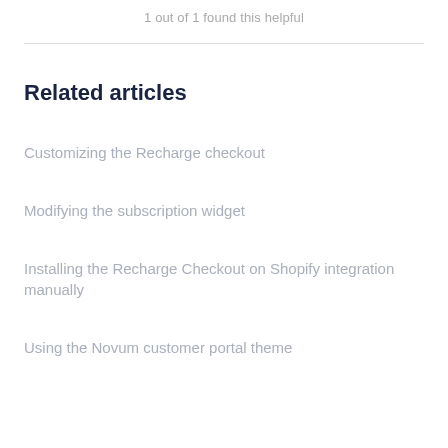1 out of 1 found this helpful
Related articles
Customizing the Recharge checkout
Modifying the subscription widget
Installing the Recharge Checkout on Shopify integration manually
Using the Novum customer portal theme